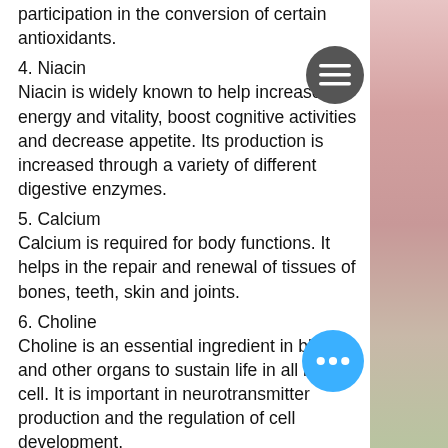participation in the conversion of certain antioxidants.
4. Niacin
Niacin is widely known to help increase energy and vitality, boost cognitive activities and decrease appetite. Its production is increased through a variety of different digestive enzymes.
5. Calcium
Calcium is required for body functions. It helps in the repair and renewal of tissues of bones, teeth, skin and joints.
6. Choline
Choline is an essential ingredient in blood and other organs to sustain life in all living cell. It is important in neurotransmitter production and the regulation of cell development.
7. Magnesium
This mineral supports a variety of processes within the body like proper immune-cell repair, normal nervous function, nerve